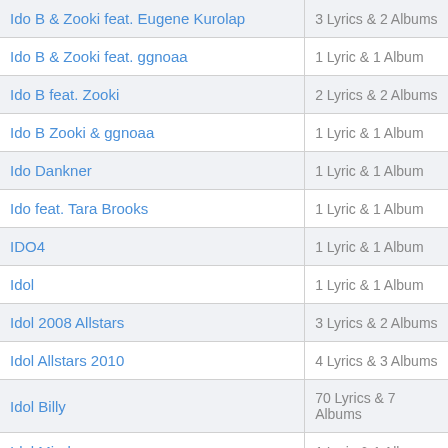| Artist | Count |
| --- | --- |
| Ido B & Zooki feat. Eugene Kurolap | 3 Lyrics & 2 Albums |
| Ido B & Zooki feat. ggnoaa | 1 Lyric & 1 Album |
| Ido B feat. Zooki | 2 Lyrics & 2 Albums |
| Ido B Zooki & ggnoaa | 1 Lyric & 1 Album |
| Ido Dankner | 1 Lyric & 1 Album |
| Ido feat. Tara Brooks | 1 Lyric & 1 Album |
| IDO4 | 1 Lyric & 1 Album |
| Idol | 1 Lyric & 1 Album |
| Idol 2008 Allstars | 3 Lyrics & 2 Albums |
| Idol Allstars 2010 | 4 Lyrics & 3 Albums |
| Idol Billy | 70 Lyrics & 7 Albums |
| Idol Minds | 1 Lyric & 1 Album |
| Idola | 9 Lyrics & 1 Album |
| iDOLEAST | 16 Lyrics & 2 |